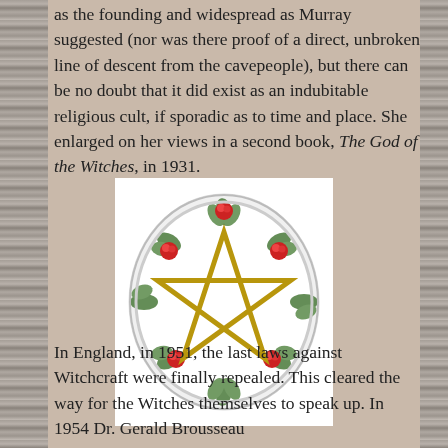as the founding and widespread as Murray suggested (nor was there proof of a direct, unbroken line of descent from the cavepeople), but there can be no doubt that it did exist as an indubitable religious cult, if sporadic as to time and place. She enlarged on her views in a second book, The God of the Witches, in 1931.
[Figure (illustration): A decorative ceramic plate featuring a golden pentagram (five-pointed star) in the center, surrounded by a wreath of green leaves and red roses.]
In England, in 1951, the last laws against Witchcraft were finally repealed. This cleared the way for the Witches themselves to speak up. In 1954 Dr. Gerald Brousseau